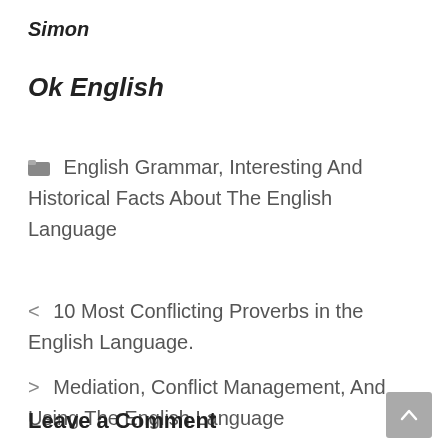Simon
Ok English
English Grammar, Interesting And Historical Facts About The English Language
< 10 Most Conflicting Proverbs in the English Language.
> Mediation, Conflict Management, And Using The English Language
Leave a Comment